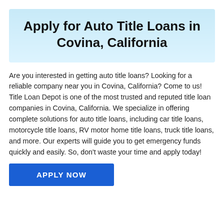Apply for Auto Title Loans in Covina, California
Are you interested in getting auto title loans? Looking for a reliable company near you in Covina, California? Come to us! Title Loan Depot is one of the most trusted and reputed title loan companies in Covina, California. We specialize in offering complete solutions for auto title loans, including car title loans, motorcycle title loans, RV motor home title loans, truck title loans, and more. Our experts will guide you to get emergency funds quickly and easily. So, don't waste your time and apply today!
APPLY NOW